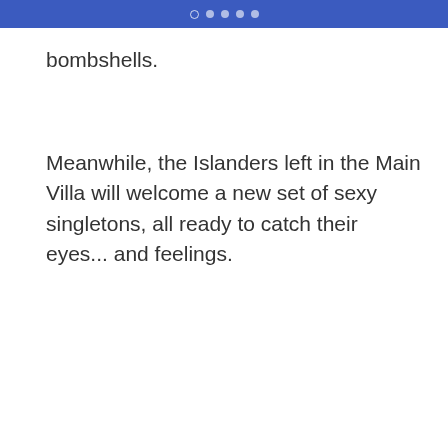● ● ● ● ●
bombshells.
Meanwhile, the Islanders left in the Main Villa will welcome a new set of sexy singletons, all ready to catch their eyes... and feelings.
Advertising